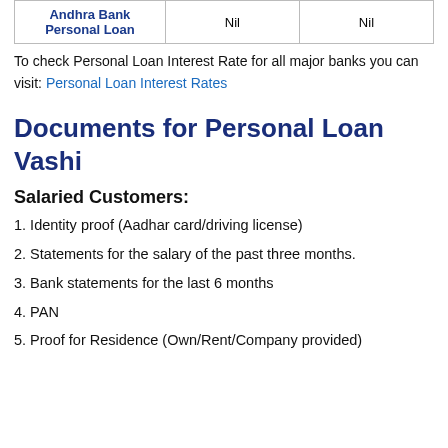| Bank | Col2 | Col3 |
| --- | --- | --- |
| Andhra Bank Personal Loan | Nil | Nil |
To check Personal Loan Interest Rate for all major banks you can visit: Personal Loan Interest Rates
Documents for Personal Loan Vashi
Salaried Customers:
1. Identity proof (Aadhar card/driving license)
2. Statements for the salary of the past three months.
3. Bank statements for the last 6 months
4. PAN
5. Proof for Residence (Own/Rent/Company provided)